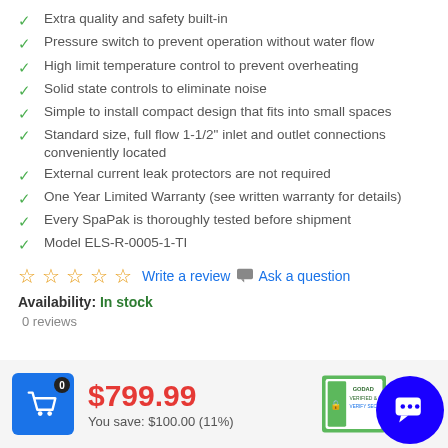Extra quality and safety built-in
Pressure switch to prevent operation without water flow
High limit temperature control to prevent overheating
Solid state controls to eliminate noise
Simple to install compact design that fits into small spaces
Standard size, full flow 1-1/2" inlet and outlet connections conveniently located
External current leak protectors are not required
One Year Limited Warranty (see written warranty for details)
Every SpaPak is thoroughly tested before shipment
Model ELS-R-0005-1-TI
Write a review  Ask a question
Availability: In stock
0 reviews
$799.99
You save: $100.00 (11%)